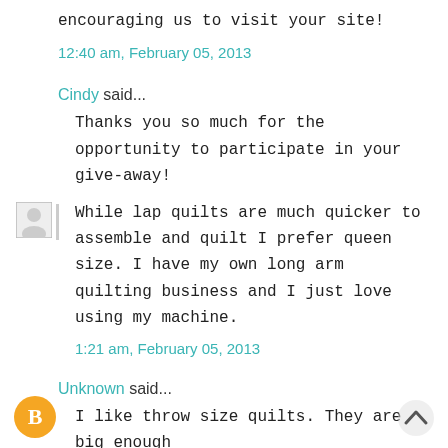encouraging us to visit your site!
12:40 am, February 05, 2013
Cindy said...
Thanks you so much for the opportunity to participate in your give-away!
While lap quilts are much quicker to assemble and quilt I prefer queen size. I have my own long arm quilting business and I just love using my machine.
1:21 am, February 05, 2013
Unknown said...
I like throw size quilts. They are big enough